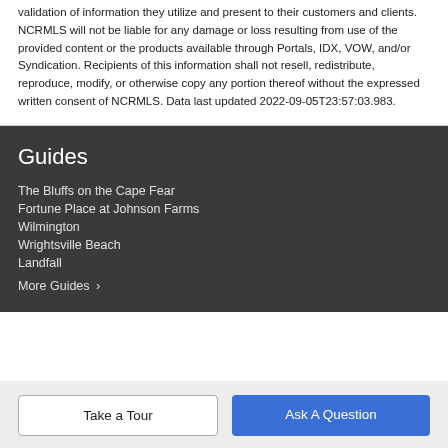validation of information they utilize and present to their customers and clients. NCRMLS will not be liable for any damage or loss resulting from use of the provided content or the products available through Portals, IDX, VOW, and/or Syndication. Recipients of this information shall not resell, redistribute, reproduce, modify, or otherwise copy any portion thereof without the expressed written consent of NCRMLS. Data last updated 2022-09-05T23:57:03.983.
Guides
The Bluffs on the Cape Fear
Fortune Place at Johnson Farms
Wilmington
Wrightsville Beach
Landfall
More Guides >
Take a Tour
Ask A Question